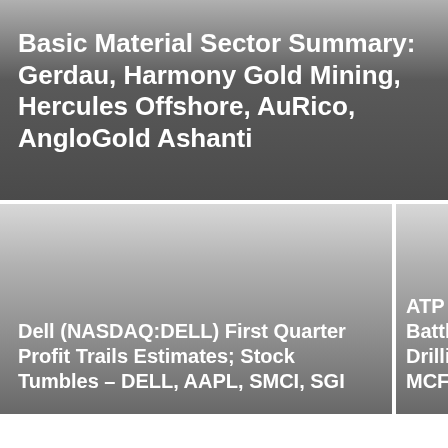Basic Material Sector Summary: Gerdau, Harmony Gold Mining, Hercules Offshore, AuRico, AngloGold Ashanti
Dell (NASDAQ:DELL) First Quarter Profit Trails Estimates; Stock Tumbles – DELL, AAPL, SMCI, SGI
ATP Oil & Battle Wi Drilling Ha MCF